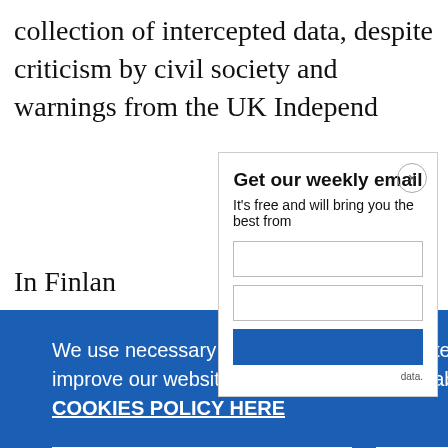collection of intercepted data, despite criticism by civil society and warnings from the UK Independ
In Finlan
Get our weekly email
It's free and will bring you the best from
We use necessary cookies that allow our site to work. We also set optional cookies that help us improve our website. For more information about the types of cookies we use. READ OUR COOKIES POLICY HERE
COOKIE SETTINGS
ALLOW ALL COOKIES
data.
of its resi